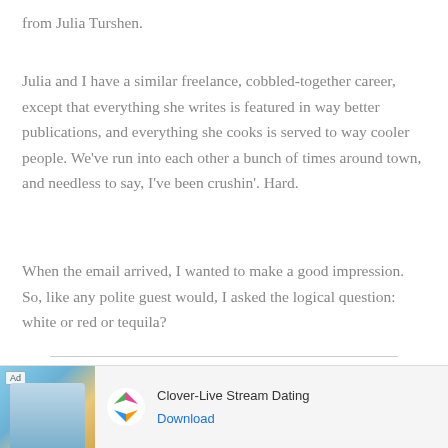from Julia Turshen.
Julia and I have a similar freelance, cobbled-together career, except that everything she writes is featured in way better publications, and everything she cooks is served to way cooler people. We've run into each other a bunch of times around town, and needless to say, I've been crushin'. Hard.
When the email arrived, I wanted to make a good impression. So, like any polite guest would, I asked the logical question: white or red or tequila?
MY LATEST VIDEOS
[Figure (other): Advertisement banner: Clover-Live Stream Dating app ad with photo of woman on beach, app icon, title 'Clover-Live Stream Dating', and Download button]